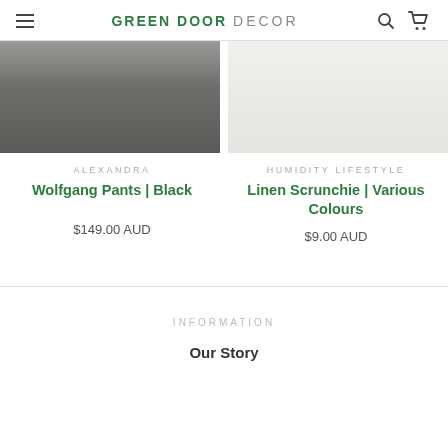GREEN DOOR DECOR
[Figure (photo): Cropped photo showing dark gray Wolfgang pants on a person, light background]
[Figure (photo): Light gray/cream background product photo for linen scrunchie]
ALEXANDRA
Wolfgang Pants | Black
$149.00 AUD
HUMIDITY LIFESTYLE
Linen Scrunchie | Various Colours
$9.00 AUD
INFORMATION
Our Story